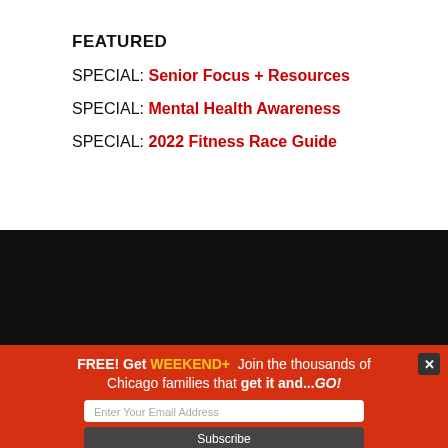FEATURED
SPECIAL: Senior Focus + Resources
SPECIAL: Mental Health Awareness
SPECIAL: 2022 Fitness Race Guide
[Figure (other): Dark/black background banner section]
FREE! Get WEEKEND+  Join the thousands of Chicago families that get it and...GO!
Enter Your Email Address
Subscribe